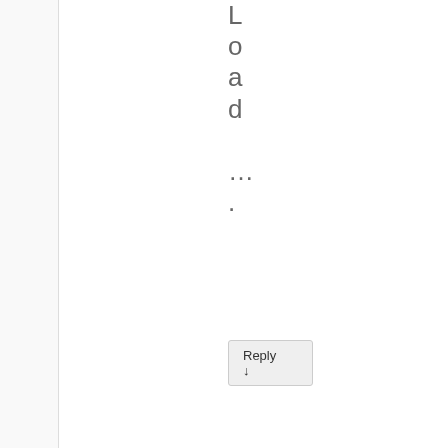L
o
a
d
...
.
Reply ↓
FrodeSolheim on 2015-03-27 at 18:58 said:
T